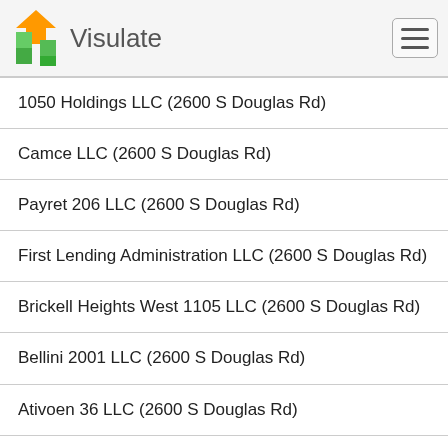Visulate
1050 Holdings LLC (2600 S Douglas Rd)
Camce LLC (2600 S Douglas Rd)
Payret 206 LLC (2600 S Douglas Rd)
First Lending Administration LLC (2600 S Douglas Rd)
Brickell Heights West 1105 LLC (2600 S Douglas Rd)
Bellini 2001 LLC (2600 S Douglas Rd)
Ativoen 36 LLC (2600 S Douglas Rd)
Tavione 35 LLC (2600 S Douglas Rd)
Sereno 301 LLC (2600 S Douglas Rd)
Qt Properties & Investments LLC (2600 S Douglas Rd)